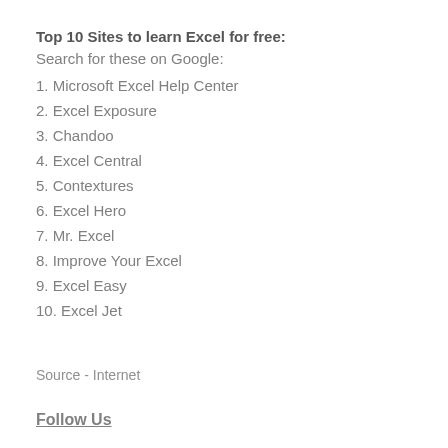Top 10 Sites to learn Excel for free:
Search for these on Google:
1. Microsoft Excel Help Center
2. Excel Exposure
3. Chandoo
4. Excel Central
5. Contextures
6. Excel Hero
7. Mr. Excel
8. Improve Your Excel
9. Excel Easy
10. Excel Jet
Source - Internet
Follow Us